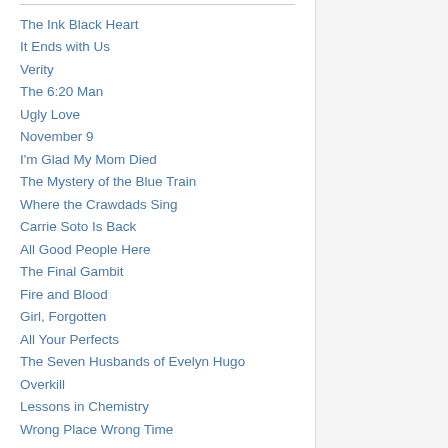The Ink Black Heart
It Ends with Us
Verity
The 6:20 Man
Ugly Love
November 9
I'm Glad My Mom Died
The Mystery of the Blue Train
Where the Crawdads Sing
Carrie Soto Is Back
All Good People Here
The Final Gambit
Fire and Blood
Girl, Forgotten
All Your Perfects
The Seven Husbands of Evelyn Hugo
Overkill
Lessons in Chemistry
Wrong Place Wrong Time